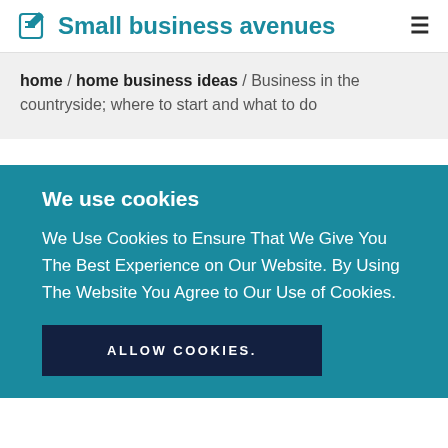Small business avenues
home / home business ideas / Business in the countryside; where to start and what to do
We use cookies
We Use Cookies to Ensure That We Give You The Best Experience on Our Website. By Using The Website You Agree to Our Use of Cookies.
ALLOW COOKIES.